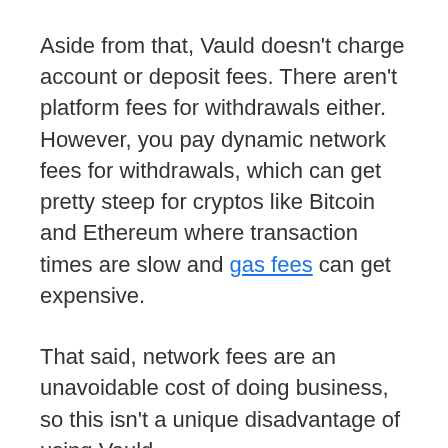Aside from that, Vauld doesn't charge account or deposit fees. There aren't platform fees for withdrawals either. However, you pay dynamic network fees for withdrawals, which can get pretty steep for cryptos like Bitcoin and Ethereum where transaction times are slow and gas fees can get expensive.
That said, network fees are an unavoidable cost of doing business, so this isn't a unique disadvantage of using Vauld.
Vauld doesn't have withdrawal limits and withdrawals usually process instantly unless you're withdrawing $100,000 or more. For